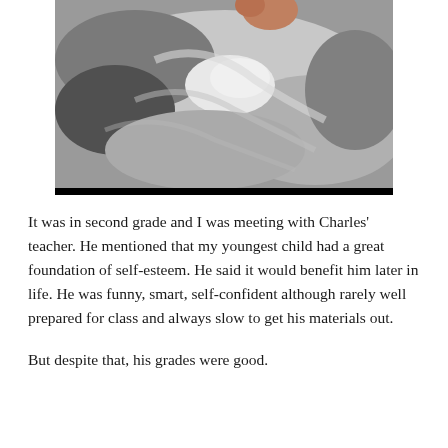[Figure (photo): Close-up black and white photo of rumpled fabric/clothing, appears to show a hand touching or holding the cloth. Image has a dark border at bottom.]
It was in second grade and I was meeting with Charles' teacher. He mentioned that my youngest child had a great foundation of self-esteem. He said it would benefit him later in life. He was funny, smart, self-confident although rarely well prepared for class and always slow to get his materials out.
But despite that, his grades were good.